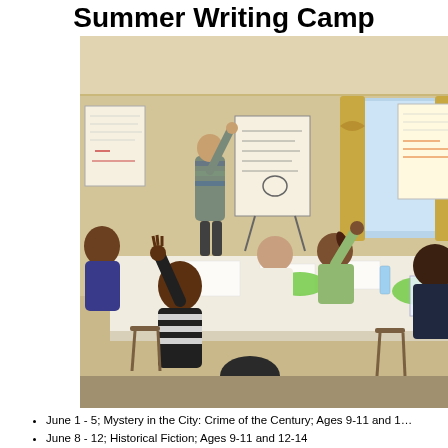Summer Writing Camp
[Figure (photo): Classroom scene showing students sitting around a large table with hands raised, and a teacher standing at a flip chart in a room with curtained windows and paper posters on the walls.]
June 1 - 5; Mystery in the City: Crime of the Century; Ages 9-11 and 1…
June 8 - 12; Historical Fiction; Ages 9-11 and 12-14
June 15 - 19; Extra! Extra! Write All About It! ; Ages 9-11 and 12-14
June 22 - 26; Write On: The Essentials; Ages 9-11 and 12-14
July 6 - July 10; Mystery in the City: Haunts and Habitats; Ages 9-11 a…